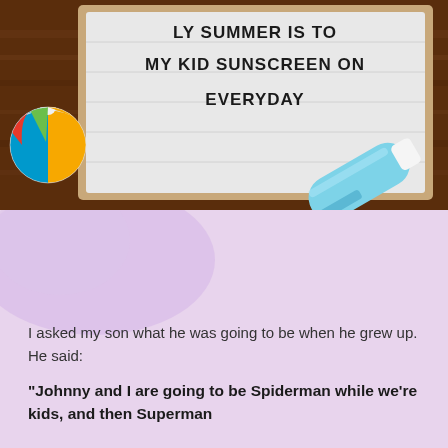[Figure (photo): Photo of a white letter board on a wooden surface reading '...LY SUMMER IS TO MY KID SUNSCREEN ON EVERYDAY', with a colorful beach ball on the left and a light blue sunscreen tube on the right.]
I asked my son what he was going to be when he grew up. He said:
“Johnny and I are going to be Spiderman while we’re kids, and then Superman when we grow up.”